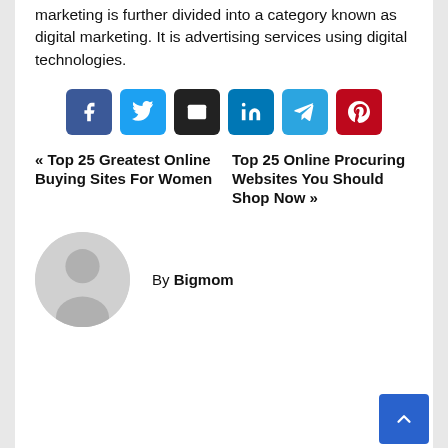marketing is further divided into a category known as digital marketing. It is advertising services using digital technologies.
[Figure (other): Social share buttons: Facebook, Twitter, Email, LinkedIn, Telegram, Pinterest]
« Top 25 Greatest Online Buying Sites For Women    Top 25 Online Procuring Websites You Should Shop Now »
By Bigmom
[Figure (illustration): Default avatar placeholder image — grey circle with silhouette]